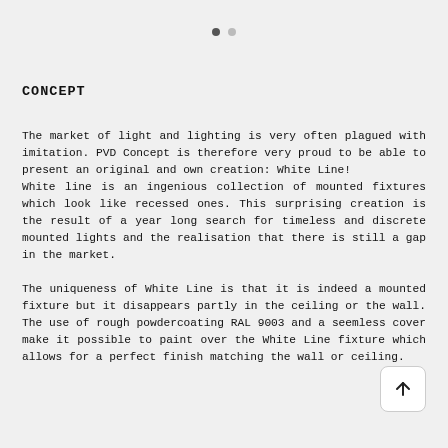• ○
CONCEPT
The market of light and lighting is very often plagued with imitation. PVD Concept is therefore very proud to be able to present an original and own creation: White Line!
White line is an ingenious collection of mounted fixtures which look like recessed ones. This surprising creation is the result of a year long search for timeless and discrete mounted lights and the realisation that there is still a gap in the market.

The uniqueness of White Line is that it is indeed a mounted fixture but it disappears partly in the ceiling or the wall. The use of rough powdercoating RAL 9003 and a seemless cover make it possible to paint over the White Line fixture which allows for a perfect finish matching the wall or ceiling.